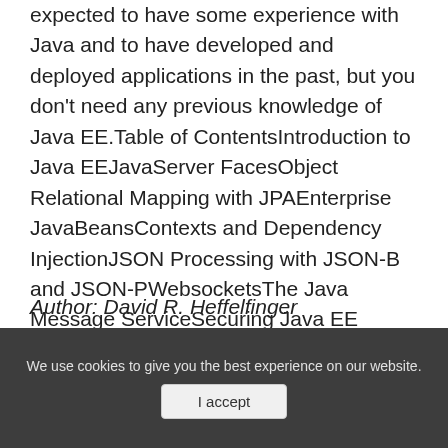expected to have some experience with Java and to have developed and deployed applications in the past, but you don't need any previous knowledge of Java EE.Table of ContentsIntroduction to Java EEJavaServer FacesObject Relational Mapping with JPAEnterprise JavaBeansContexts and Dependency InjectionJSON Processing with JSON-B and JSON-PWebsocketsThe Java Message ServiceSecuring Java EE ApplicationsRESTful Web Services with JAX-RSMicroServices Development with Java EESOAP web services with JAX-WSServlet development and deploymentAppendix
Author: David R. Heffelfinger
Learn more
We use cookies to give you the best experience on our website.
I accept